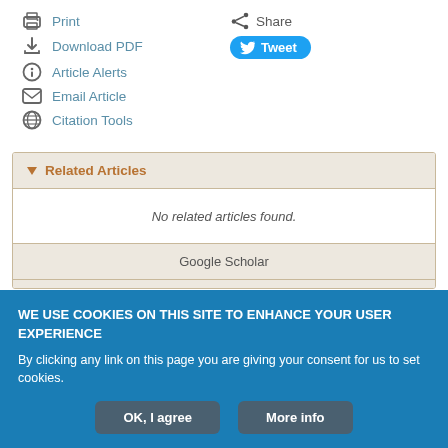Print
Download PDF
Article Alerts
Email Article
Citation Tools
Share
Tweet
Related Articles
No related articles found.
Google Scholar
WE USE COOKIES ON THIS SITE TO ENHANCE YOUR USER EXPERIENCE
By clicking any link on this page you are giving your consent for us to set cookies.
OK, I agree
More info